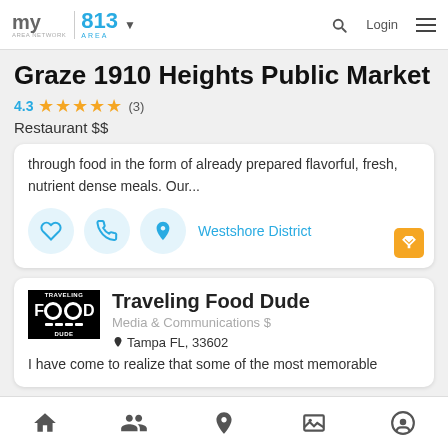my area network | 813 AREA | Login
Graze 1910 Heights Public Market
4.3 ★★★★★ (3) Restaurant $$
through food in the form of already prepared flavorful, fresh, nutrient dense meals. Our...
Westshore District
Traveling Food Dude
Media & Communications $
Tampa FL, 33602
I have come to realize that some of the most memorable
Home | People | Location | Gallery | Profile